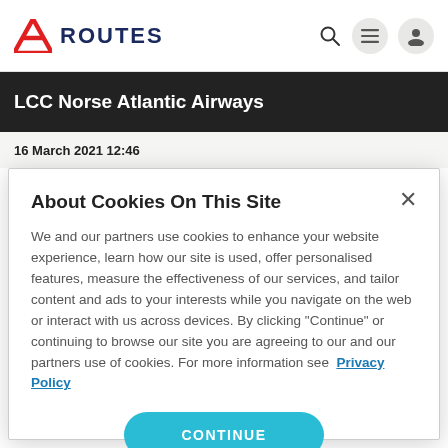ROUTES
LCC Norse Atlantic Airways
16 March 2021 12:46
About Cookies On This Site
We and our partners use cookies to enhance your website experience, learn how our site is used, offer personalised features, measure the effectiveness of our services, and tailor content and ads to your interests while you navigate on the web or interact with us across devices. By clicking "Continue" or continuing to browse our site you are agreeing to our and our partners use of cookies. For more information see Privacy Policy
CONTINUE